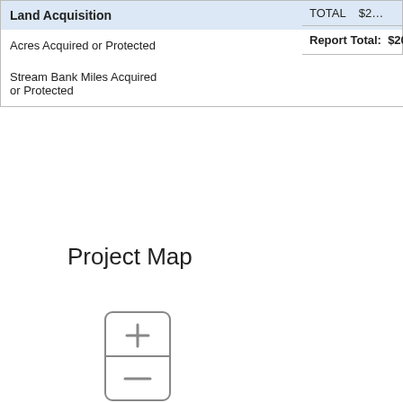| Land Acquisition |  |
| --- | --- |
| Acres Acquired or Protected | 80.0 |
| Stream Bank Miles Acquired or Protected | .64 |
|  |  |
| --- | --- |
| TOTAL | $2… |
| Report Total: | $20… |
Project Map
[Figure (other): Map zoom control widget showing a plus button on top and minus button on bottom, with rounded rectangle border and dividing line between the two buttons.]